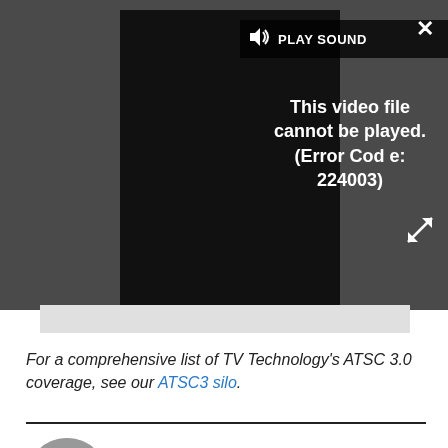[Figure (screenshot): Video player with error message 'This video file cannot be played. (Error Code: 224003)' and PLAY SOUND bar at top, close X button top right, expand arrows bottom right]
For a comprehensive list of TV Technology's ATSC 3.0 coverage, see our ATSC3 silo.
Bill Hayes
Bill Hayes, director of engineering and technology